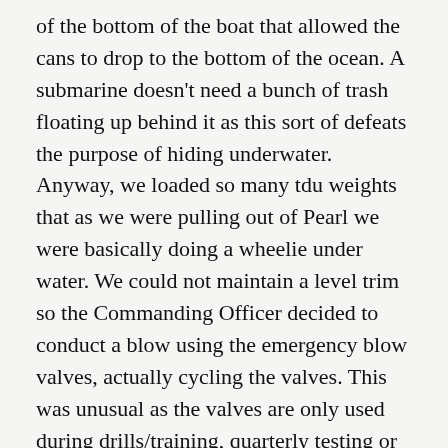of the bottom of the boat that allowed the cans to drop to the bottom of the ocean. A submarine doesn't need a bunch of trash floating up behind it as this sort of defeats the purpose of hiding underwater. Anyway, we loaded so many tdu weights that as we were pulling out of Pearl we were basically doing a wheelie under water. We could not maintain a level trim so the Commanding Officer decided to conduct a blow using the emergency blow valves, actually cycling the valves. This was unusual as the valves are only used during drills/training, quarterly testing or emergencies. After conducting the blow we leveled off and continued on our West Pac. I thought to myself, “I hope we won’t need to conduct an emergency blow while we were out or if we did the blow would work.” I was thinking of what happened to the USS Thresher. That boat tried an emergency blow and from what I